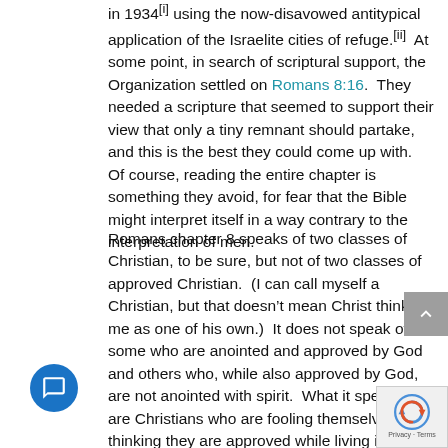in 1934[i] using the now-disavowed antitypical application of the Israelite cities of refuge.[ii]  At some point, in search of scriptural support, the Organization settled on Romans 8:16.  They needed a scripture that seemed to support their view that only a tiny remnant should partake, and this is the best they could come up with.  Of course, reading the entire chapter is something they avoid, for fear that the Bible might interpret itself in a way contrary to the interpretation of men.
Romans chapter 8 speaks of two classes of Christian, to be sure, but not of two classes of approved Christian.  (I can call myself a Christian, but that doesn't mean Christ thinks of me as one of his own.)  It does not speak of some who are anointed and approved by God and others who, while also approved by God, are not anointed with spirit.  What it speaks of are Christians who are fooling themselves by thinking they are approved while living in accordance with the flesh and its desires.  The flesh leads to death, while the spirit leads to life.